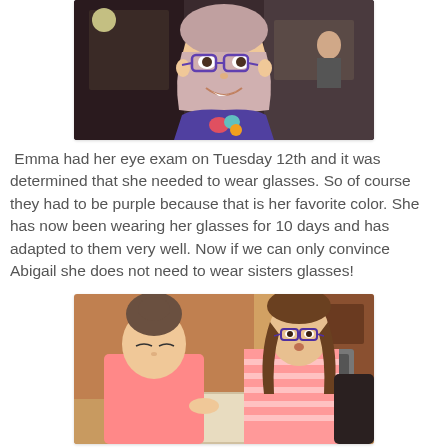[Figure (photo): Young girl with purple glasses and a purple Little Mermaid shirt, smiling at the camera indoors]
Emma had her eye exam on Tuesday 12th and it was determined that she needed to wear glasses. So of course they had to be purple because that is her favorite color. She has now been wearing her glasses for 10 days and has adapted to them very well. Now if we can only convince Abigail she does not need to wear sisters glasses!
[Figure (photo): A woman in a pink shirt and a girl in a pink striped shirt with purple glasses looking down at a book together at a kitchen table]